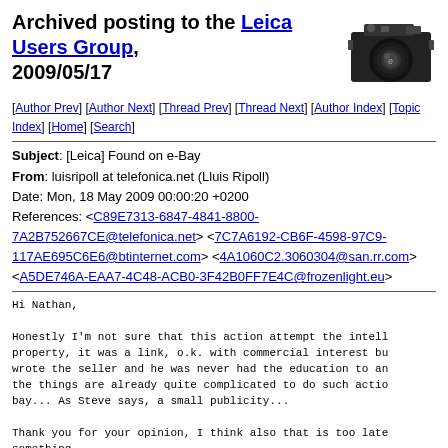Archived posting to the Leica Users Group, 2009/05/17
[Figure (photo): Black and white illustration of a Leica camera]
[Author Prev] [Author Next] [Thread Prev] [Thread Next] [Author Index] [Topic Index] [Home] [Search]
Subject: [Leica] Found on e-Bay
From: luisripoll at telefonica.net (Lluis Ripoll)
Date: Mon, 18 May 2009 00:00:20 +0200
References: <C89E7313-6847-4841-8800-7A2B752667CE@telefonica.net> <7C7A6192-CB6F-4598-97C9-117AE695C6E6@btinternet.com> <4A1060C2.3060304@san.rr.com> <A5DE746A-EAA7-4C48-ACB0-3F42B0FF7E4C@frozenlight.eu>
Hi Nathan,

Honestly I'm not sure that this action attempt the intell property, it was a link, o.k. with commercial interest bu wrote the seller and he was never had the education to an the things are already quite complicated to do such actio bay... As Steve says, a small publicity...

Thank you for your opinion, I think also that is too late something

Saludos cordiales
Lluis
[Figure (logo): Leica camera illustration top right corner]